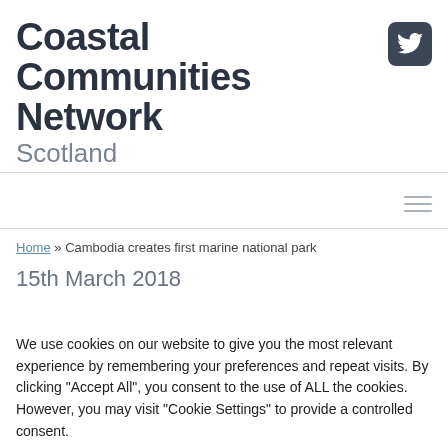Coastal Communities Network Scotland
[Figure (logo): Twitter bird icon on dark rounded square background]
Home » Cambodia creates first marine national park
15th March 2018
We use cookies on our website to give you the most relevant experience by remembering your preferences and repeat visits. By clicking "Accept All", you consent to the use of ALL the cookies. However, you may visit "Cookie Settings" to provide a controlled consent.